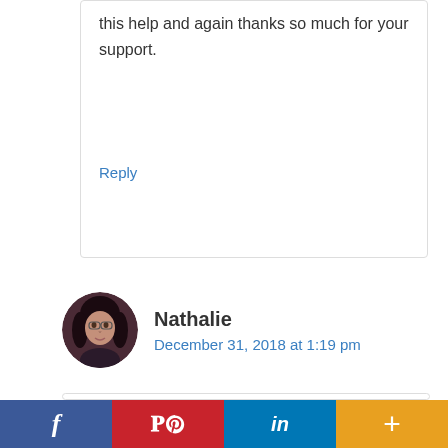this help and again thanks so much for your support.
Reply
Nathalie
December 31, 2018 at 1:19 pm
Oh, what a lovely blog you have, Norman! I have to admit that I did not know what “allspice” was in English so I had to look it up in French. Now that I know, I have to say that this is not very